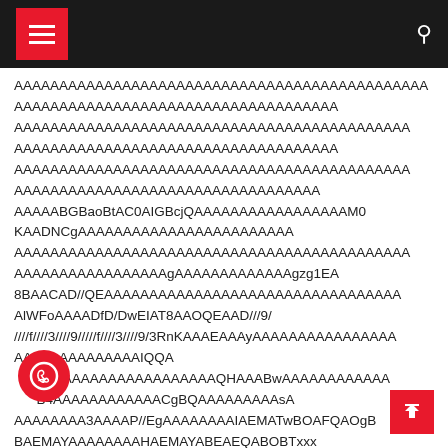Navigation header with hamburger menu and search icon
AAAAAAAAAAAAAAAAAAAAAAAAAAAAAAAAAAAAAAAAAAAAAA
AAAAAAAAAAAAAAAAAAAAAAAAAAAAAAAAAAAAA
AAAAAAAAAAAAAAAAAAAAAAAAAAAAAAAAAAAAAAAAAAAAA
AAAAAAAAAAAAAAAAAAAAAAAAAAAAAAAAAAAAA
AAAAAAAAAAAAAAAAAAAAAAAAAAAAAAAAAAAAAAAAAAAAA
AAAAAAAAAAAAAAAAAAAAAAAAAAAAAAAAA
AAAAABGBaoBtAC0AIGBcjQAAAAAAAAAAAAAAAAAM0
KAADNCgAAAAAAAAAAAAAAAAAAAAAAAA
AAAAAAAAAAAAAAAAAAAAAAAAAAAAAAAAAAAAAAAAAAAAA
AAAAAAAAAAAAAAAAAAgAAAAAAAAAAAAAgzg1EA
8BAACAD//QEAAAAAAAAAAAAAAAAAAAAAAAAAAAAAAA
AlWFoAAAADfD/DwEIAT8AAOQEAAD///9/
////f////3////9/////f////3////9/3RnKAAAEAAAyAAAAAAAAAAAAAAAA
AAAAAAAAAAAAIQQA

AAAAAAAAAAAAAAAAQHAAABwAAAAAAAAAAAA
B4AAAAAAAAAAAACgBQAAAAAAAAAsA
AAAAAAAA3AAAAP//EgAAAAAAAAIAEMATwBOAFQAOgB
BAEMAYAAAAAAAAHAEMAYABEAEQABOBT